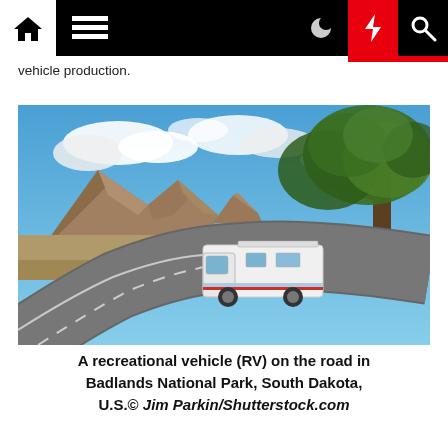[Navigation bar with home, menu, moon, lightning, and search icons]
vehicle production.
[Figure (photo): A recreational vehicle (RV) driving on a winding road in Badlands National Park, South Dakota. Rocky buttes and a large tree are visible in the background under a partly cloudy blue sky.]
A recreational vehicle (RV) on the road in Badlands National Park, South Dakota, U.S.© Jim Parkin/Shutterstock.com